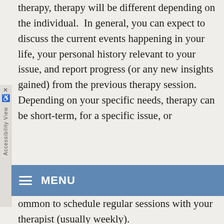therapy, therapy will be different depending on the individual. In general, you can expect to discuss the current events happening in your life, your personal history relevant to your issue, and report progress (or any new insights gained) from the previous therapy session. Depending on your specific needs, therapy can be short-term, for a specific issue, or common to schedule regular sessions with your therapist (usually weekly).
It is important to understand that you will get more results from therapy if you actively participate in the process. The ultimate purpose of therapy is to help you bring what you learn in session back into your life. Therefore, beyond the work you do in therapy sessions, your therapist may suggest some things you can do outside of therapy to support your